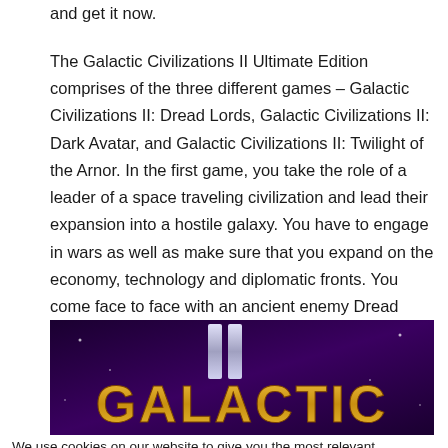and get it now.
The Galactic Civilizations II Ultimate Edition comprises of the three different games – Galactic Civilizations II: Dread Lords, Galactic Civilizations II: Dark Avatar, and Galactic Civilizations II: Twilight of the Arnor. In the first game, you take the role of a leader of a space traveling civilization and lead their expansion into a hostile galaxy. You have to engage in wars as well as make sure that you expand on the economy, technology and diplomatic fronts. You come face to face with an ancient enemy Dread Lords.
[Figure (photo): Game logo image showing 'Galactic II' in stylized gold and purple lettering on a dark purple background]
We use cookies on our website to give you the most relevant experience by remembering your preferences and